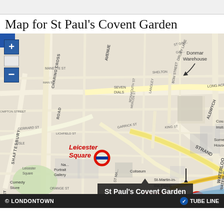Map for St Paul's Covent Garden
[Figure (map): Street map of central London showing the area around St Paul's Covent Garden, with labels for Covent Garden tube station, Leicester Square tube station, Charing Cross tube station, Royal Opera House, London Transport, Donmar Warehouse, Somerset House, National Portrait Gallery, Coliseum, St-Martin-in-the-Fields, Comedy Store, Victoria Embankment Gardens, Embankment Pier, and various street names including Shaftesbury, Charing Cross Road, The Strand, Long Acre, Drury Lane. A dark tooltip reads 'St Paul's Covent Garden'.]
© LONDONTOWN   TUBE LINE